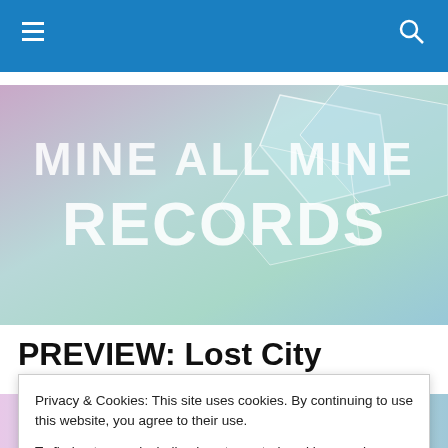Navigation bar with hamburger menu and search icon
[Figure (illustration): Banner image with text 'MINE ALL MINE RECORDS' in large white letters on a colorful abstract background with geometric shapes in purple, teal, and light colors]
PREVIEW: Lost City Winter Series #7
Privacy & Cookies: This site uses cookies. By continuing to use this website, you agree to their use.
To find out more, including how to control cookies, see here: Cookie Policy
Close and accept
[Figure (illustration): Bottom strip showing a colorful image, partially visible]